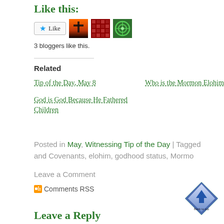Like this:
[Figure (other): Like button with star icon and three blogger avatar thumbnails]
3 bloggers like this.
Related
Tip of the Day, May 8
Who is the Mormon Elohim
God is God Because He Fathered Children
Posted in May, Witnessing Tip of the Day | Tagged and Covenants, elohim, godhood status, Mormo
Leave a Comment
Comments RSS
[Figure (other): Back to top button arrow icon]
Leave a Reply